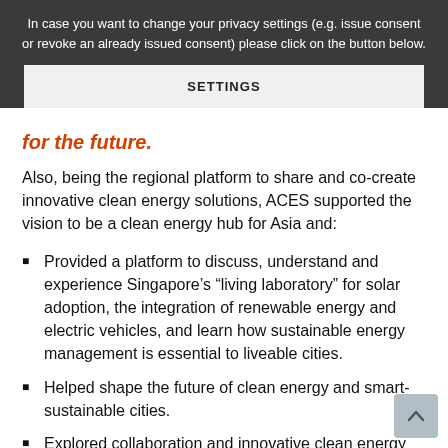In case you want to change your privacy settings (e.g. issue consent or revoke an already issued consent) please click on the button below.
SETTINGS
for the future.
Also, being the regional platform to share and co-create innovative clean energy solutions, ACES supported the vision to be a clean energy hub for Asia and:
Provided a platform to discuss, understand and experience Singapore's “living laboratory” for solar adoption, the integration of renewable energy and electric vehicles, and learn how sustainable energy management is essential to liveable cities.
Helped shape the future of clean energy and smart-sustainable cities.
Explored collaboration and innovative clean energy solutions within a vibrant ecosystem of technology / service companies, research institutes and energy